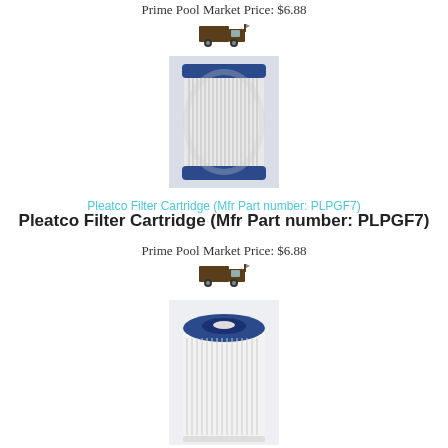Prime Pool Market Price: $6.88
[Figure (photo): Truck/shipping icon]
[Figure (photo): Pleatco filter cartridge (cylindrical, blue ends, white pleated filter) - front view]
Pleatco Filter Cartridge (Mfr Part number: PLPGF7)
Pleatco Filter Cartridge (Mfr Part number: PLPGF7)
Prime Pool Market Price: $6.88
[Figure (photo): Truck/shipping icon]
[Figure (photo): Pleatco filter cartridge (cylindrical, blue top cap, white pleated filter) - top-angle view]